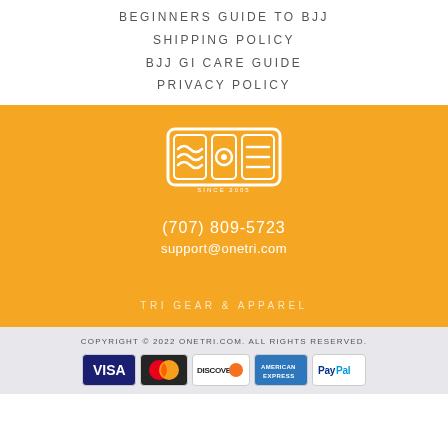BEGINNERS GUIDE TO BJJ
SHIPPING POLICY
BJJ GI CARE GUIDE
PRIVACY POLICY
[Figure (logo): OneTri logo — rectangular badge with wave/sun/lines motif, 'SINCE 2005' text below]
(707) 809-5723
support@onetri.com
TRI GEAR & APPAREL
COPYRIGHT © 2022 ONETRI.COM. ALL RIGHTS RESERVED.
[Figure (other): Payment method icons: Visa, MasterCard, Discover, American Express, PayPal]